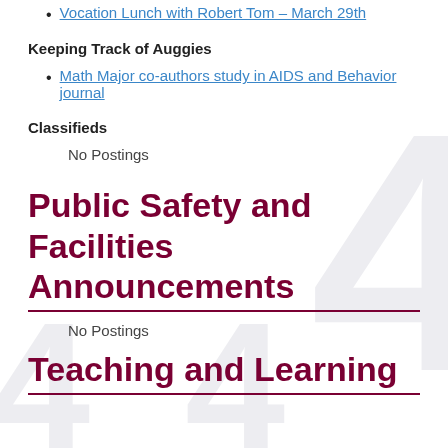Vocation Lunch with Robert Tom – March 29th
Keeping Track of Auggies
Math Major co-authors study in AIDS and Behavior journal
Classifieds
No Postings
Public Safety and Facilities Announcements
No Postings
Teaching and Learning